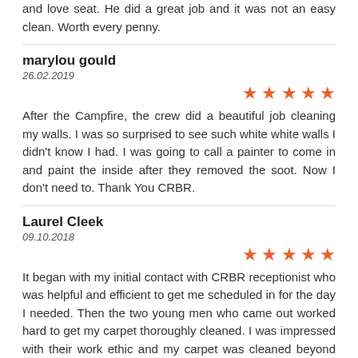and love seat. He did a great job and it was not an easy clean. Worth every penny.
marylou gould
26.02.2019
[Figure (other): 5 orange stars rating]
After the Campfire, the crew did a beautiful job cleaning my walls. I was so surprised to see such white white walls I didn't know I had. I was going to call a painter to come in and paint the inside after they removed the soot. Now I don't need to. Thank You CRBR.
Laurel Cleek
09.10.2018
[Figure (other): 5 orange stars rating]
It began with my initial contact with CRBR receptionist who was helpful and efficient to get me scheduled in for the day I needed. Then the two young men who came out worked hard to get my carpet thoroughly cleaned. I was impressed with their work ethic and my carpet was cleaned beyond what I had